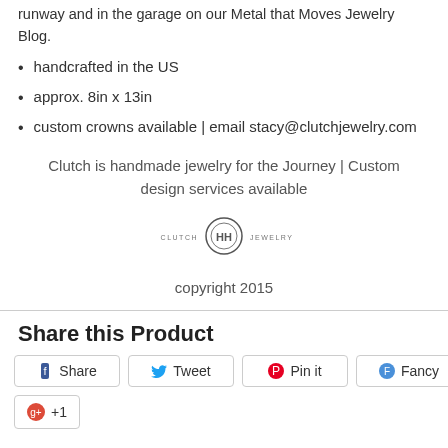runway and in the garage on our Metal that Moves Jewelry Blog.
handcrafted in the US
approx. 8in x 13in
custom crowns available | email stacy@clutchjewelry.com
Clutch is handmade jewelry for the Journey | Custom design services available
[Figure (logo): Clutch Jewelry logo with circular emblem and text 'CLUTCH JEWELRY']
copyright 2015
Share this Product
Share  Tweet  Pin it  Fancy
+1